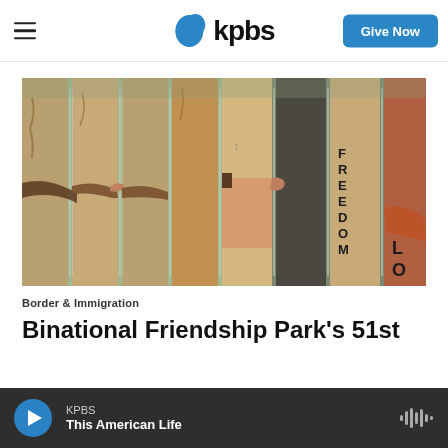kpbs | Give Now
[Figure (photo): Close-up of a border fence/wall with graffiti murals including outstretched arms and the word FREEDOM painted on the metal slats, with vertical bars visible behind.]
Border & Immigration
Binational Friendship Park's 51st
KPBS | This American Life